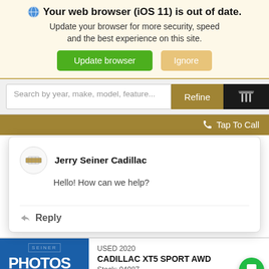Your web browser (iOS 11) is out of date. Update your browser for more security, speed and the best experience on this site.
Update browser | Ignore
Search by year, make, model, feature...
Refine
Tap To Call
Jerry Seiner Cadillac
Hello! How can we help?
Reply
USED 2020
CADILLAC XT5 SPORT AWD
Stock: 94987
[Figure (screenshot): PHOTOS COMING blue placeholder image with Seiner watermark]